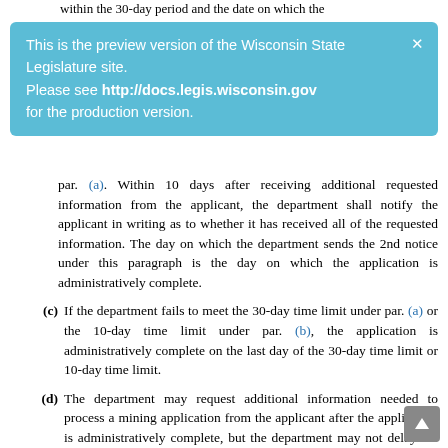within the 30-day period and the date on which the department sends the notice is the day on which the
This is the preview version of the Wisconsin State Legislature site. Please see http://docs.legis.wisconsin.gov for the production version.
par. (a). Within 10 days after receiving additional requested information from the applicant, the department shall notify the applicant in writing as to whether it has received all of the requested information. The day on which the department sends the 2nd notice under this paragraph is the day on which the application is administratively complete.
(c) If the department fails to meet the 30-day time limit under par. (a) or the 10-day time limit under par. (b), the application is administratively complete on the last day of the 30-day time limit or 10-day time limit.
(d) The department may request additional information needed to process a mining application from the applicant after the application is administratively complete, but the department may not delay the determination of administrative completeness based on a request for additional information.
(3) NOTICE OF ADDITIONAL APPROVALS. Within 30 days after the mining permit is administratively complete under sub. (2), the department shall notify the applicant in writing of any approval required for the construction or operation of the